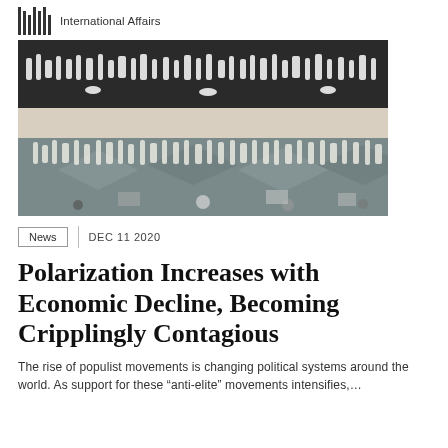International Affairs
[Figure (illustration): Abstract artwork showing silhouettes of people and animals in black, white, and grey tones arranged in horizontal bands with geometric patterns]
News   DEC 11 2020
Polarization Increases with Economic Decline, Becoming Cripplingly Contagious
The rise of populist movements is changing political systems around the world. As support for these "anti-elite" movements intensifies,...